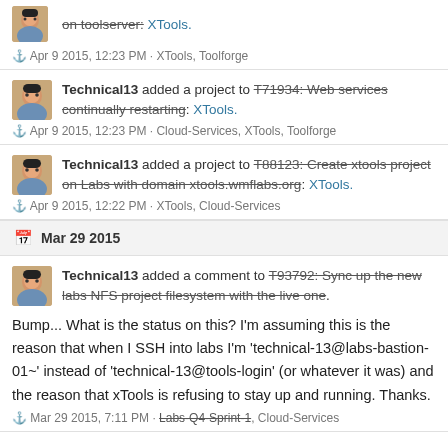on toolserver: XTools.
Apr 9 2015, 12:23 PM · XTools, Toolforge
Technical13 added a project to T71934: Web services continually restarting: XTools.
Apr 9 2015, 12:23 PM · Cloud-Services, XTools, Toolforge
Technical13 added a project to T88123: Create xtools project on Labs with domain xtools.wmflabs.org: XTools.
Apr 9 2015, 12:22 PM · XTools, Cloud-Services
Mar 29 2015
Technical13 added a comment to T93792: Sync up the new labs NFS project filesystem with the live one.
Bump... What is the status on this? I'm assuming this is the reason that when I SSH into labs I'm 'technical-13@labs-bastion-01~' instead of 'technical-13@tools-login' (or whatever it was) and the reason that xTools is refusing to stay up and running. Thanks.
Mar 29 2015, 7:11 PM · Labs-Q4-Sprint-1, Cloud-Services